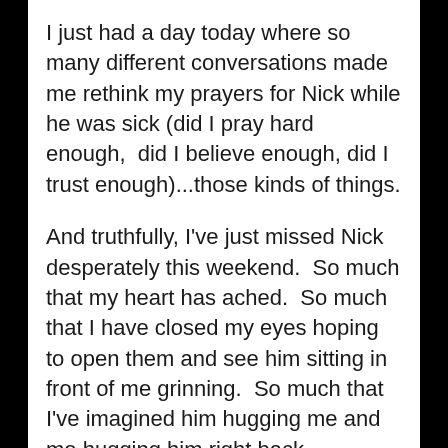I just had a day today where so many different conversations made me rethink my prayers for Nick while he was sick (did I pray hard enough,  did I believe enough, did I trust enough)...those kinds of things.
And truthfully, I've just missed Nick desperately this weekend.  So much that my heart has ached.  So much that I have closed my eyes hoping to open them and see him sitting in front of me grinning.  So much that I've imagined him hugging me and me hugging him right back.
Shew.
Grief is relentless.